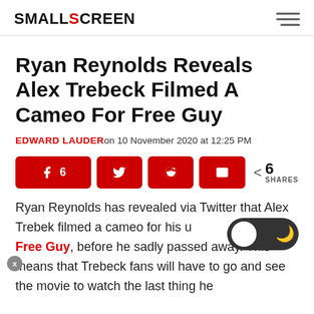SMALL SCREEN
Ryan Reynolds Reveals Alex Trebeck Filmed A Cameo For Free Guy
EDWARD LAUDER on 10 November 2020 at 12:25 PM
[Figure (infographic): Social share buttons: Facebook (6), Twitter, Reddit, Email, and a share count of 6 SHARES]
Ryan Reynolds has revealed via Twitter that Alex Trebek filmed a cameo for his upcoming film, Free Guy, before he sadly passed away. This means that Trebeck fans will have to go and see the movie to watch the last thing he